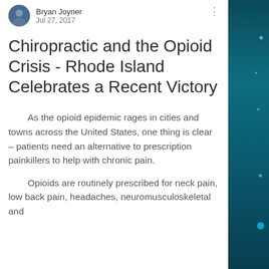Bryan Joyner · Jul 27, 2017
Chiropractic and the Opioid Crisis - Rhode Island Celebrates a Recent Victory
As the opioid epidemic rages in cities and towns across the United States, one thing is clear – patients need an alternative to prescription painkillers to help with chronic pain.
Opioids are routinely prescribed for neck pain, low back pain, headaches, neuromusculoskeletal and